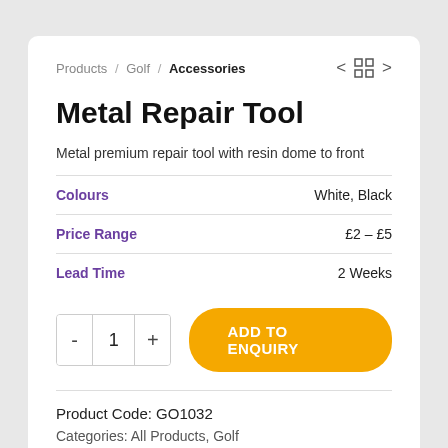Products / Golf / Accessories
Metal Repair Tool
Metal premium repair tool with resin dome to front
| Colours | White, Black |
| Price Range | £2 – £5 |
| Lead Time | 2 Weeks |
- 1 + ADD TO ENQUIRY
Product Code: GO1032
Categories: All Products, Golf